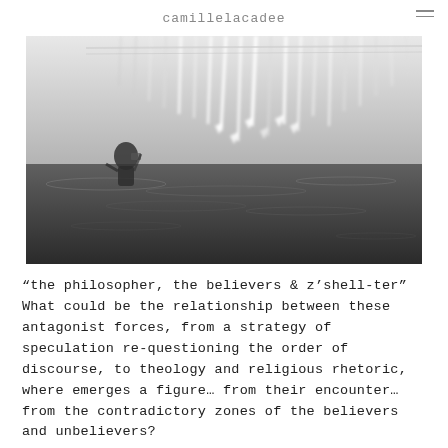camillelacadee
[Figure (photo): Black and white photograph of an art installation featuring hanging white crystalline or icicle-like structures overhead, with a person visible beneath them standing in dark water. The upper half shows dense white abstract forms, the lower half shows dark rippling water.]
"the philosopher, the believers & z'shell-ter" What could be the relationship between these antagonist forces, from a strategy of speculation re-questioning the order of discourse, to theology and religious rhetoric, where emerges a figure… from their encounter… from the contradictory zones of the believers and unbelievers?